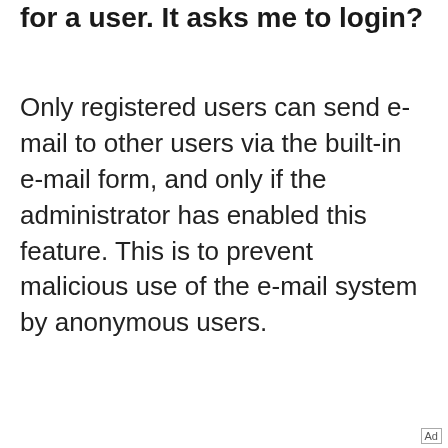for a user. It asks me to login?
Only registered users can send e-mail to other users via the built-in e-mail form, and only if the administrator has enabled this feature. This is to prevent malicious use of the e-mail system by anonymous users.
⊙ Top
Posting Issues
[Figure (other): Green OPEN button advertisement with play and close icons, for Marine Foam Boat Flooring]
Marine Foam Boat Flooring